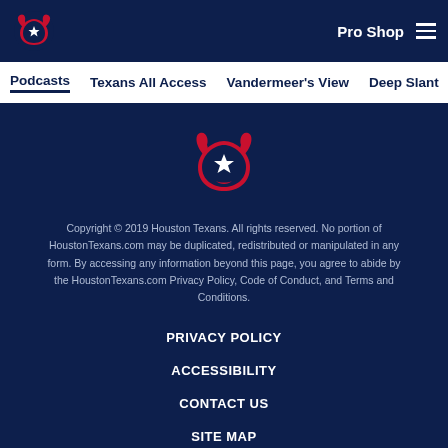Pro Shop
Podcasts  Texans All Access  Vandermeer's View  Deep Slant
[Figure (logo): Houston Texans NFL team logo — bull head with star and horns in navy, red, and white]
Copyright © 2019 Houston Texans. All rights reserved. No portion of HoustonTexans.com may be duplicated, redistributed or manipulated in any form. By accessing any information beyond this page, you agree to abide by the HoustonTexans.com Privacy Policy, Code of Conduct, and Terms and Conditions.
PRIVACY POLICY
ACCESSIBILITY
CONTACT US
SITE MAP